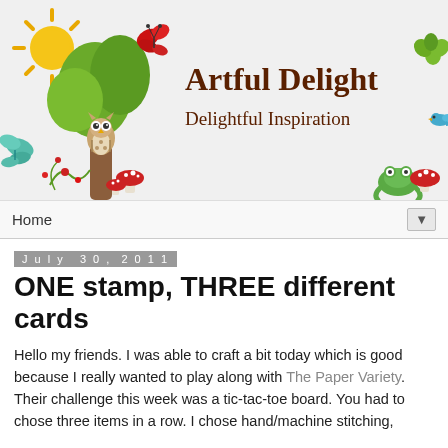[Figure (illustration): Blog header banner with colorful cartoon illustration: owl in a tree with green foliage, yellow sun with rays, red butterfly, teal butterfly, red mushrooms, flowers, and green frog on the right side; blog title 'Artful Delight' and subtitle 'Delightful Inspiration' in brown cursive font on right side of banner]
Home ▼
July 30, 2011
ONE stamp, THREE different cards
Hello my friends. I was able to craft a bit today which is good because I really wanted to play along with The Paper Variety. Their challenge this week was a tic-tac-toe board. You had to chose three items in a row. I chose hand/machine stitching,